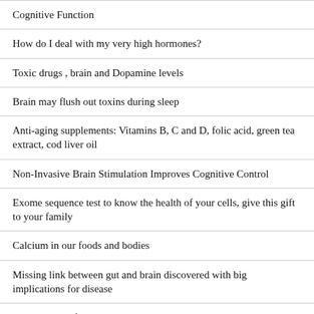Cognitive Function
How do I deal with my very high hormones?
Toxic drugs , brain and Dopamine levels
Brain may flush out toxins during sleep
Anti-aging supplements: Vitamins B, C and D, folic acid, green tea extract, cod liver oil
Non-Invasive Brain Stimulation Improves Cognitive Control
Exome sequence test to know the health of your cells, give this gift to your family
Calcium in our foods and bodies
Missing link between gut and brain discovered with big implications for disease
Medical Tests for Women in Their 40s
Hair Loss/Weight Loss, herbs for allergies, drug side-effects, herbs with caution, chemo Q&A